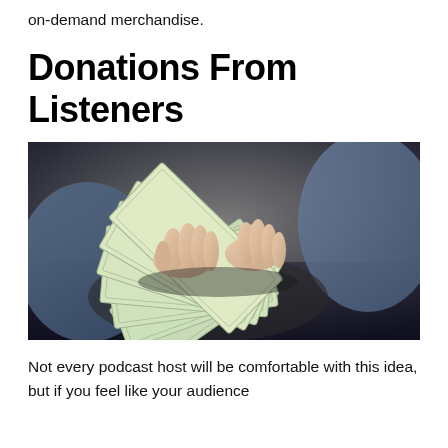on-demand merchandise.
Donations From Listeners
[Figure (photo): Person's hands fanning out a spread of US $100 dollar bills, held over their lap wearing jeans, with a dark background.]
Not every podcast host will be comfortable with this idea, but if you feel like your audience